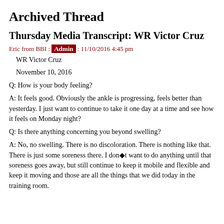Archived Thread
Thursday Media Transcript: WR Victor Cruz
Eric from BBI : Admin : 11/10/2016 4:45 pm
WR Victor Cruz
November 10, 2016
Q: How is your body feeling?
A: It feels good. Obviously the ankle is progressing, feels better than yesterday. I just want to continue to take it one day at a time and see how it feels on Monday night?
Q: Is there anything concerning you beyond swelling?
A: No, no swelling. There is no discoloration. There is nothing like that. There is just some soreness there. I don�t want to do anything until that soreness goes away, but still continue to keep it mobile and flexible and keep it moving and those are all the things that we did today in the training room.